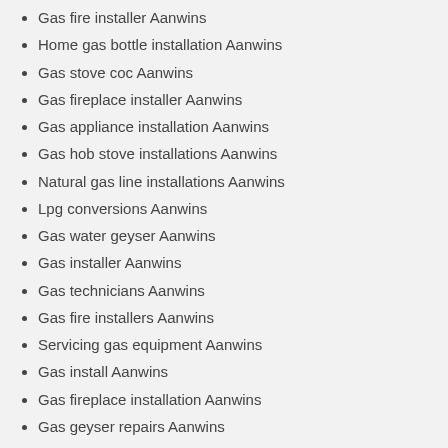Gas fire installer Aanwins
Home gas bottle installation Aanwins
Gas stove coc Aanwins
Gas fireplace installer Aanwins
Gas appliance installation Aanwins
Gas hob stove installations Aanwins
Natural gas line installations Aanwins
Lpg conversions Aanwins
Gas water geyser Aanwins
Gas installer Aanwins
Gas technicians Aanwins
Gas fire installers Aanwins
Servicing gas equipment Aanwins
Gas install Aanwins
Gas fireplace installation Aanwins
Gas geyser repairs Aanwins
Gas fireplace install Aanwins
Gas fireplace repairs Aanwins
Gas water geysers Aanwins
Commercial gas installers Aanwins
Gas installations Aanwins
Gas fitters Aanwins
Commercial gas installation Aanwins
Gas geyser installer Aanwins
Lpg gas installer Aanwins
Gas inspection coc Aanwins
Gas geyser coc Aanwins